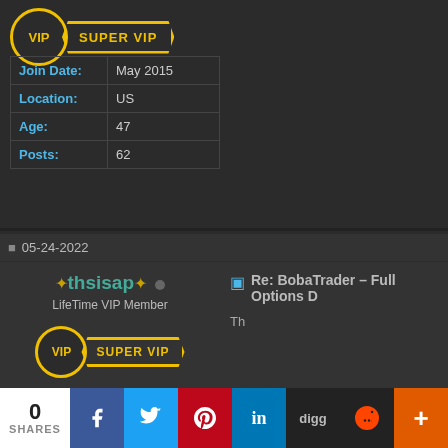[Figure (other): VIP circle badge and SUPER VIP banner badge for first user]
| Join Date: | May 2015 |
| Location: | US |
| Age: | 47 |
| Posts: | 62 |
05-24-2022
thsisap
LifeTime VIP Member
[Figure (other): VIP circle badge and SUPER VIP banner badge for thsisap user]
| Join Date: | Aug 2019 |
| Location: | houston |
| Posts: | 62 |
Re: BobaTrader – Full Options D
Th
0 SHARES